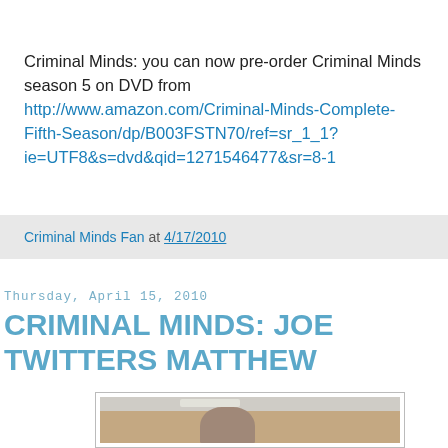Criminal Minds: you can now pre-order Criminal Minds season 5 on DVD from http://www.amazon.com/Criminal-Minds-Complete-Fifth-Season/dp/B003FSTN70/ref=sr_1_1?ie=UTF8&s=dvd&qid=1271546477&sr=8-1
Criminal Minds Fan at 4/17/2010
Thursday, April 15, 2010
CRIMINAL MINDS: JOE TWITTERS MATTHEW
[Figure (photo): A young man holding a gun and smiling/laughing, indoors, with other people visible in the background]